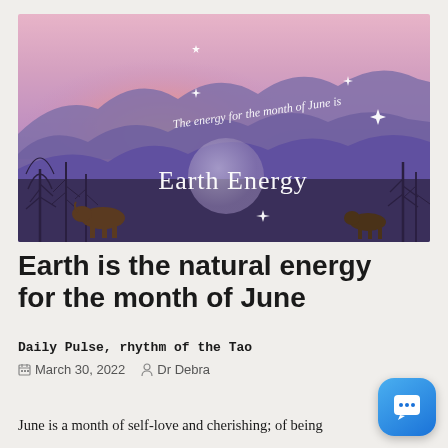[Figure (photo): Mountain landscape at sunset with purple and pink sky, silhouetted bare trees, cattle in the foreground. Overlay text reads 'The energy for the month of June is' and 'Earth Energy' with decorative sparkle stars and a moon circle.]
Earth is the natural energy for the month of June
Daily Pulse, rhythm of the Tao
March 30, 2022   Dr Debra
June is a month of self-love and cherishing; of being